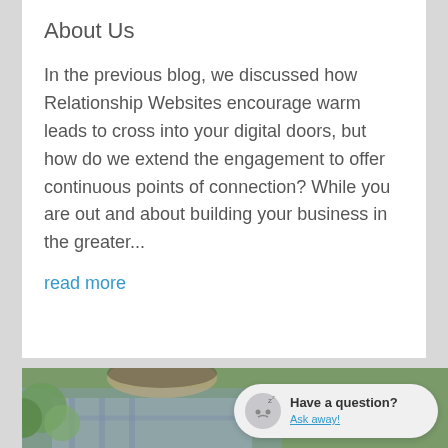About Us
In the previous blog, we discussed how Relationship Websites encourage warm leads to cross into your digital doors, but how do we extend the engagement to offer continuous points of connection? While you are out and about building your business in the greater...
read more
[Figure (photo): Partial photo of a person wearing a plaid shirt, visible at the bottom of the page, with green foliage in the background. A chat bubble overlay shows a sleeping emoji icon with 'Z', text 'Have a question?' and 'Ask away!']